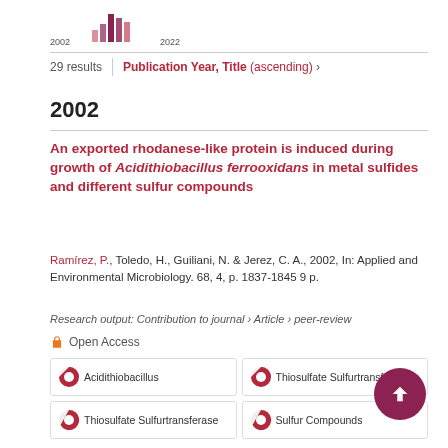[Figure (bar-chart): Small bar chart showing publication counts from 2002 to 2022]
29 results  |  Publication Year, Title (ascending) ›
2002
An exported rhodanese-like protein is induced during growth of Acidithiobacillus ferrooxidans in metal sulfides and different sulfur compounds
Ramírez, P., Toledo, H., Guiliani, N. & Jerez, C. A., 2002, In: Applied and Environmental Microbiology. 68, 4, p. 1837-1845 9 p.
Research output: Contribution to journal › Article › peer-review
Open Access
Acidithiobillus | Thiosulfate Sulfurtransferase | Thiosulfate Sulfurtransferase | Sulfur Compounds